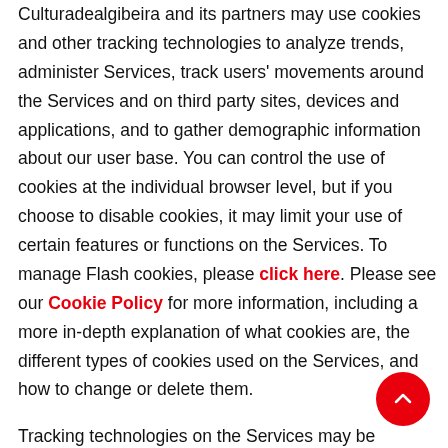Culturadealgibeira and its partners may use cookies and other tracking technologies to analyze trends, administer Services, track users' movements around the Services and on third party sites, devices and applications, and to gather demographic information about our user base. You can control the use of cookies at the individual browser level, but if you choose to disable cookies, it may limit your use of certain features or functions on the Services. To manage Flash cookies, please click here. Please see our Cookie Policy for more information, including a more in-depth explanation of what cookies are, the different types of cookies used on the Services, and how to change or delete them.

Tracking technologies on the Services may be deployed by Culturadealgibeira and/or by our